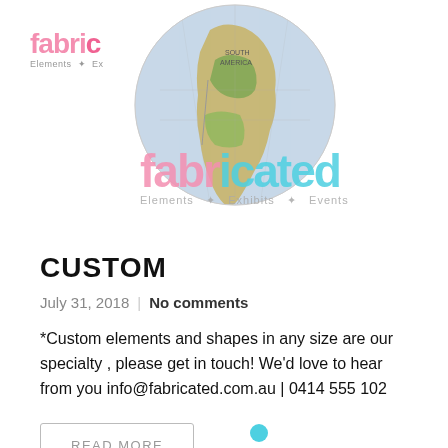[Figure (photo): A globe/earth ball showing South America, with two overlapping watermark logos for 'fabricated Elements & Exhibits & Events' — one in pink top-left, one in light blue/teal center-bottom]
CUSTOM
July 31, 2018  |  No comments
*Custom elements and shapes in any size are our specialty , please get in touch! We'd love to hear from you info@fabricated.com.au | 0414 555 102
READ MORE
0